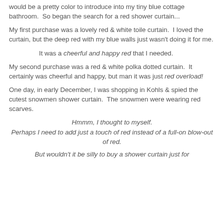would be a pretty color to introduce into my tiny blue cottage bathroom.  So began the search for a red shower curtain...
My first purchase was a lovely red & white toile curtain.  I loved the curtain, but the deep red with my blue walls just wasn't doing it for me.
It was a cheerful and happy red that I needed.
My second purchase was a red & white polka dotted curtain.  It certainly was cheerful and happy, but man it was just red overload!
One day, in early December, I was shopping in Kohls & spied the cutest snowmen shower curtain.  The snowmen were wearing red scarves.
Hmmm, I thought to myself.
Perhaps I need to add just a touch of red instead of a full-on blow-out of red.
But wouldn't it be silly to buy a shower curtain just for